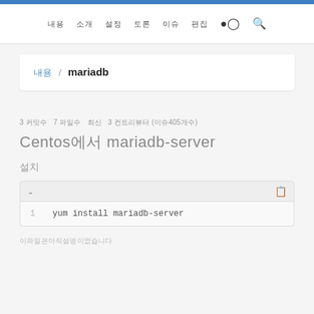내용 / mariadb
3 커밋수  7 파일수  최신  3 컨트리뷰터 (이슈405개수)
Centos에서 mariadb-server
설치
1   yum install mariadb-server
이파일은아직설명이없습니다